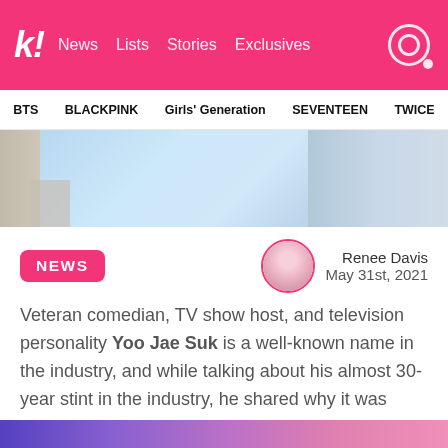k! News  Lists  Stories  Exclusives
BTS  BLACKPINK  Girls' Generation  SEVENTEEN  TWICE
[Figure (photo): Hero image showing a person in a light blue hoodie inside a car]
NEWS
Renee Davis
May 31st, 2021
Veteran comedian, TV show host, and television personality Yoo Jae Suk is a well-known name in the industry, and while talking about his almost 30-year stint in the industry, he shared why it was harder for comedians to make a name for themselves now!
[Figure (photo): Bottom strip showing colorful background, partial image at bottom of page]